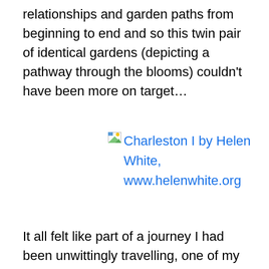relationships and garden paths from beginning to end and so this twin pair of identical gardens (depicting a pathway through the blooms) couldn't have been more on target…
[Figure (other): Broken image placeholder with link text: Charleston I by Helen White, www.helenwhite.org]
It all felt like part of a journey I had been unwittingly travelling, one of my many metaphorical pathways and